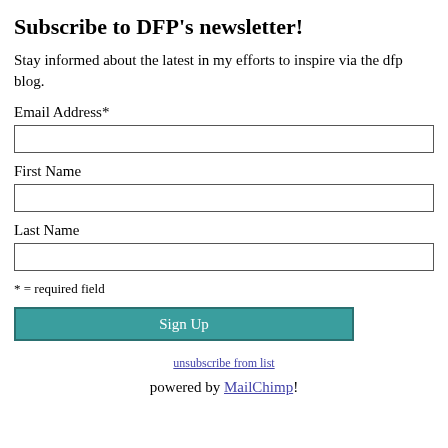Subscribe to DFP's newsletter!
Stay informed about the latest in my efforts to inspire via the dfp blog.
Email Address*
First Name
Last Name
* = required field
Sign Up
unsubscribe from list
powered by MailChimp!